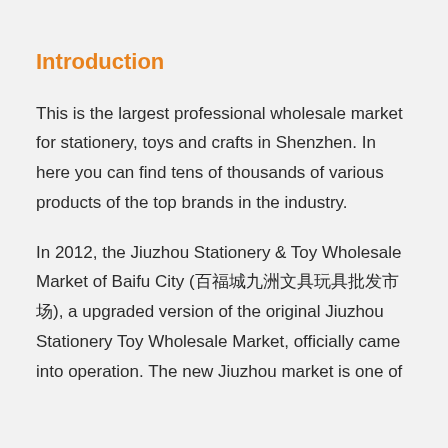Introduction
This is the largest professional wholesale market for stationery, toys and crafts in Shenzhen. In here you can find tens of thousands of various products of the top brands in the industry.
In 2012, the Jiuzhou Stationery & Toy Wholesale Market of Baifu City (百福城九洲文具玩具批发市场), a upgraded version of the original Jiuzhou Stationery Toy Wholesale Market, officially came into operation. The new Jiuzhou market is one of